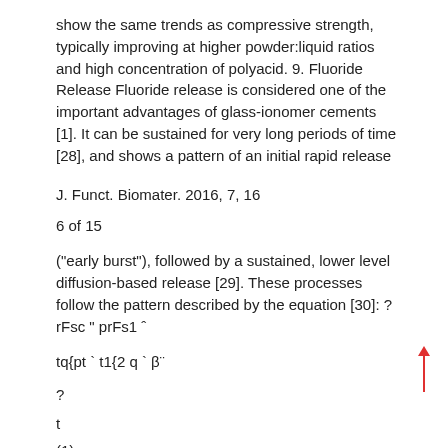show the same trends as compressive strength, typically improving at higher powder:liquid ratios and high concentration of polyacid. 9. Fluoride Release Fluoride release is considered one of the important advantages of glass-ionomer cements [1]. It can be sustained for very long periods of time [28], and shows a pattern of an initial rapid release
J. Funct. Biomater. 2016, 7, 16
6 of 15
("early burst"), followed by a sustained, lower level diffusion-based release [29]. These processes follow the pattern described by the equation [30]: ? rFsc " prFs1 ˆ
(1)